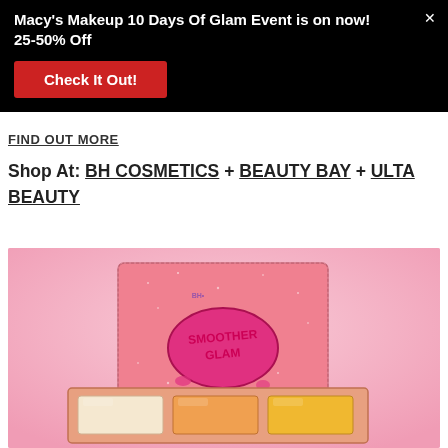[Figure (infographic): Black popup banner with white bold text reading "Macy's Makeup 10 Days Of Glam Event is on now! 25-50% Off" and a red button labeled "Check It Out!" with an X close icon in the top right]
FIND OUT MORE
Shop At: BH COSMETICS + BEAUTY BAY + ULTA BEAUTY
[Figure (photo): Pink sparkly makeup palette with graffiti-style logo text on the cover, open to reveal cream/peach/orange powder pans inside, on a pink background]